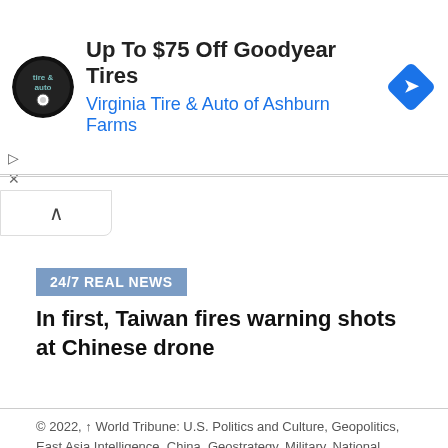[Figure (logo): Virginia Tire & Auto logo — circular black badge with 'tire & auto' text]
Up To $75 Off Goodyear Tires
Virginia Tire & Auto of Ashburn Farms
[Figure (logo): Blue diamond-shaped navigation arrow icon]
▷
✕
∧
24/7 REAL NEWS
In first, Taiwan fires warning shots at Chinese drone
© 2022, ↑ World Tribune: U.S. Politics and Culture, Geopolitics, East Asia Intelligence, China, Geostrategy, Military, National security, Corporate Watch, Media Watch, North Korea, Iran, Columnists: Dennis Prager,